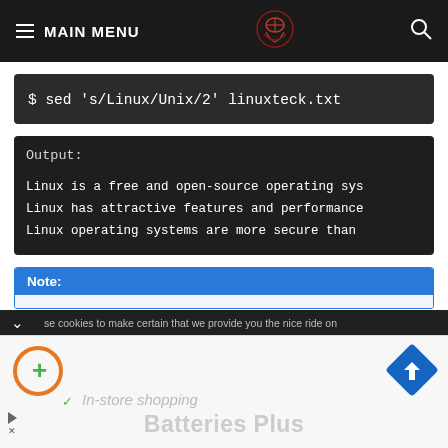≡ MAIN MENU
[Figure (screenshot): Command block showing: $ sed 's/Linux/Unix/2' linuxteck.txt]
[Figure (screenshot): Output block showing terminal output: Output: / Linux is a free and open-source operating sys... / Linux has attractive features and performance... / Linux operating systems are more secure than...]
Note:
[Figure (screenshot): Ad overlay showing Batteries Plus ad with in-store shopping text and navigation icons]